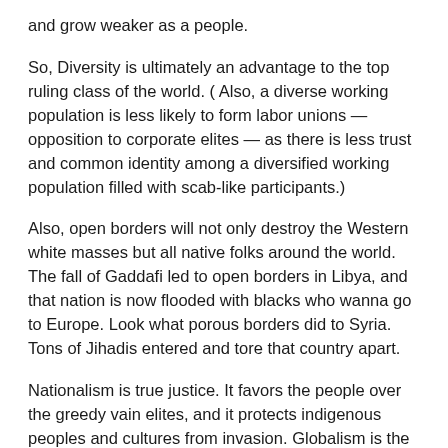and grow weaker as a people.
So, Diversity is ultimately an advantage to the top ruling class of the world. ( Also, a diverse working population is less likely to form labor unions — opposition to corporate elites — as there is less trust and common identity among a diversified working population filled with scab-like participants.)
Also, open borders will not only destroy the Western white masses but all native folks around the world. The fall of Gaddafi led to open borders in Libya, and that nation is now flooded with blacks who wanna go to Europe. Look what porous borders did to Syria. Tons of Jihadis entered and tore that country apart.
Nationalism is true justice. It favors the people over the greedy vain elites, and it protects indigenous peoples and cultures from invasion. Globalism is the new imperialism that subverts and undermines ALL nations for the supremacist advantage of the Zio-Homo-GLOB.